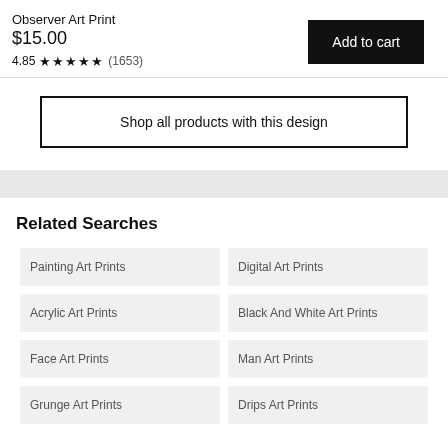Observer Art Print
$15.00
4.85 ★★★★★ (1653)
Add to cart
Shop all products with this design
Related Searches
Painting Art Prints
Digital Art Prints
Acrylic Art Prints
Black And White Art Prints
Face Art Prints
Man Art Prints
Grunge Art Prints
Drips Art Prints